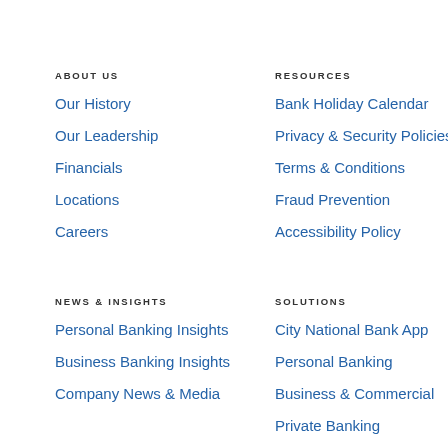ABOUT US
Our History
Our Leadership
Financials
Locations
Careers
RESOURCES
Bank Holiday Calendar
Privacy & Security Policies
Terms & Conditions
Fraud Prevention
Accessibility Policy
NEWS & INSIGHTS
Personal Banking Insights
Business Banking Insights
Company News & Media
SOLUTIONS
City National Bank App
Personal Banking
Business & Commercial
Private Banking